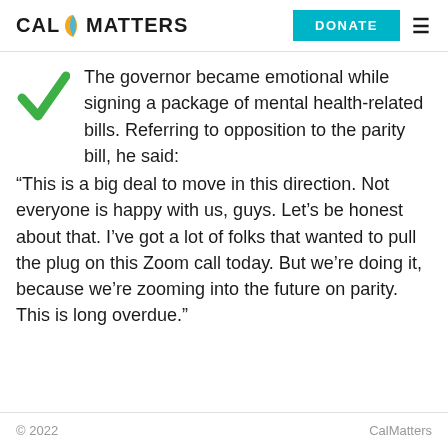CAL MATTERS | DONATE
The governor became emotional while signing a package of mental health-related bills. Referring to opposition to the parity bill, he said: “This is a big deal to move in this direction. Not everyone is happy with us, guys. Let’s be honest about that. I’ve got a lot of folks that wanted to pull the plug on this Zoom call today. But we’re doing it, because we’re zooming into the future on parity. This is long overdue.”
© 2022 | CalMatters